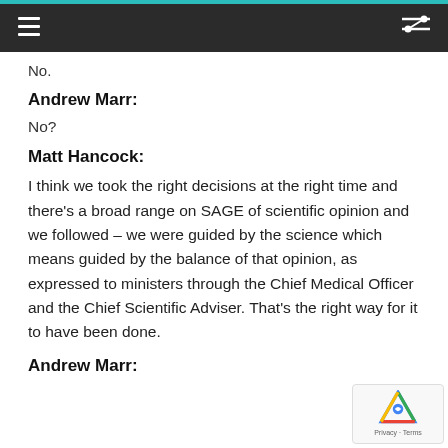Navigation bar with hamburger menu and shuffle icon
No.
Andrew Marr:
No?
Matt Hancock:
I think we took the right decisions at the right time and there's a broad range on SAGE of scientific opinion and we followed – we were guided by the science which means guided by the balance of that opinion, as expressed to ministers through the Chief Medical Officer and the Chief Scientific Adviser. That's the right way for it to have been done.
Andrew Marr: